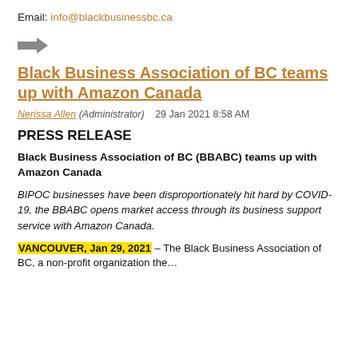Email: info@blackbusinessbc.ca
[Figure (illustration): Right-pointing arrow icon]
Black Business Association of BC teams up with Amazon Canada
Nerissa Allen (Administrator)   29 Jan 2021 8:58 AM
PRESS RELEASE
Black Business Association of BC (BBABC) teams up with Amazon Canada
BIPOC businesses have been disproportionately hit hard by COVID-19, the BBABC opens market access through its business support service with Amazon Canada.
VANCOUVER, Jan 29, 2021 – The Black Business Association of BC, a non-profit organization the…